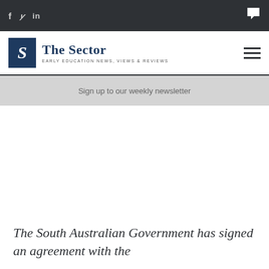f  Twitter  in  [chat icon]
[Figure (logo): The Sector logo — blue square with italic S, beside text 'The Sector' and tagline 'EARLY EDUCATION NEWS, VIEWS & REVIEWS']
Sign up to our weekly newsletter
The South Australian Government has signed an agreement with the